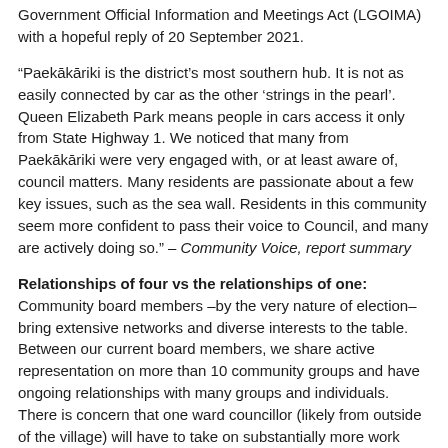Government Official Information and Meetings Act (LGOIMA) with a hopeful reply of 20 September 2021.
“Paekākāriki is the district’s most southern hub. It is not as easily connected by car as the other ‘strings in the pearl’. Queen Elizabeth Park means people in cars access it only from State Highway 1. We noticed that many from Paekākāriki were very engaged with, or at least aware of, council matters. Many residents are passionate about a few key issues, such as the sea wall. Residents in this community seem more confident to pass their voice to Council, and many are actively doing so.” – Community Voice, report summary
Relationships of four vs the relationships of one: Community board members –by the very nature of election– bring extensive networks and diverse interests to the table. Between our current board members, we share active representation on more than 10 community groups and have ongoing relationships with many groups and individuals. There is concern that one ward councillor (likely from outside of the village) will have to take on substantially more work with no extra remuneration and less chance of success in forming and maintaining trusted relationships with diverse pockets of society.